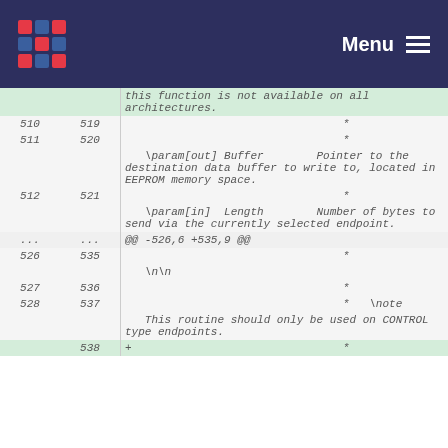Menu
| line-old | line-new | code |
| --- | --- | --- |
|  |  | this function is not available on all architectures. |
| 510 | 519 | * |
| 511 | 520 | * |
|  |  | \param[out] Buffer        Pointer to the destination data buffer to write to, located in EEPROM memory space. |
| 512 | 521 | * |
|  |  | \param[in]  Length        Number of bytes to send via the currently selected endpoint. |
| ... | ... | @@ -526,6 +535,9 @@ |
| 526 | 535 | * |
|  |  | \n\n |
| 527 | 536 | * |
| 528 | 537 | *   \note |
|  |  | This routine should only be used on CONTROL type endpoints. |
|  | 538 | +                                * |